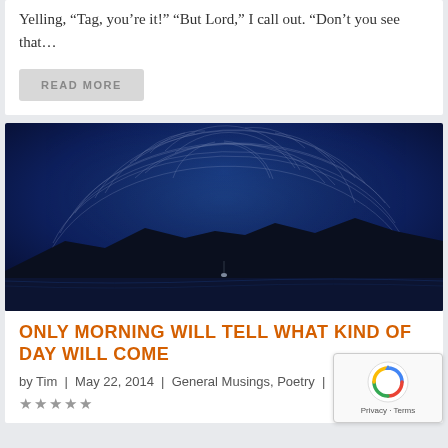Yelling, “Tag, you’re it!” “But Lord,” I call out. “Don’t you see that…
READ MORE
[Figure (photo): Night sky long-exposure photograph showing star trails over a lake with silhouetted mountains in the background. The sky is deep blue with circular star trail streaks radiating from a central point.]
ONLY MORNING WILL TELL WHAT KIND OF DAY WILL COME
by Tim | May 22, 2014 | General Musings, Poetry | 0 |
★★★★★